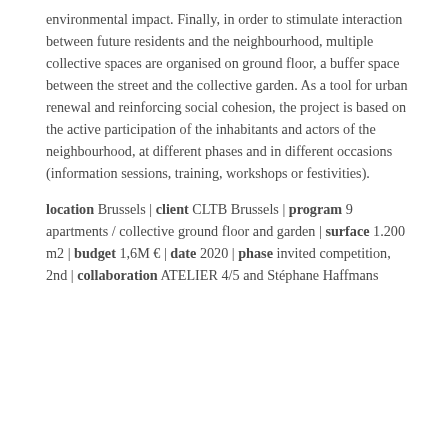environmental impact. Finally, in order to stimulate interaction between future residents and the neighbourhood, multiple collective spaces are organised on ground floor, a buffer space between the street and the collective garden. As a tool for urban renewal and reinforcing social cohesion, the project is based on the active participation of the inhabitants and actors of the neighbourhood, at different phases and in different occasions (information sessions, training, workshops or festivities).
location Brussels | client CLTB Brussels | program 9 apartments / collective ground floor and garden | surface 1.200 m2 | budget 1,6M € | date 2020 | phase invited competition, 2nd | collaboration ATELIER 4/5 and Stéphane Haffmans